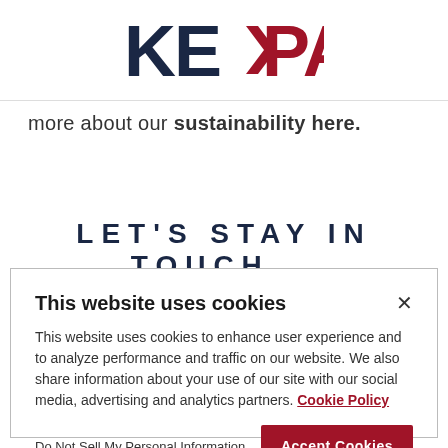[Figure (logo): Kepak company logo with 'KE' in dark navy and 'PAK' in dark red with a stylized arrow/bird shape between P and A]
more about our sustainability here.
LET'S STAY IN TOUCH...
This website uses cookies
This website uses cookies to enhance user experience and to analyze performance and traffic on our website. We also share information about your use of our site with our social media, advertising and analytics partners. Cookie Policy
Do Not Sell My Personal Information
Accept Cookies